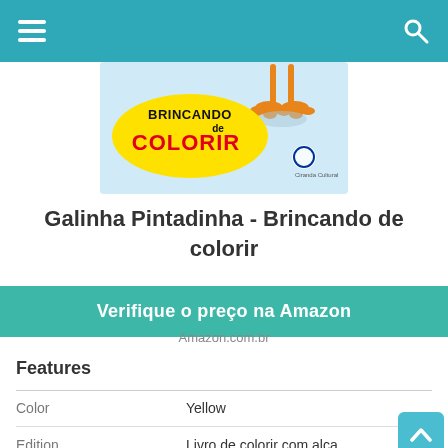Navigation bar with hamburger menu and search icon
[Figure (illustration): Brincando de Colorir book cover with yellow logo text, cartoon bird feet, and Ciranda Cultural publisher logo on light blue background]
Galinha Pintadinha - Brincando de colorir
Verifique o preço na Amazon
Amazon.com.br
Features
| Feature | Value |
| --- | --- |
| Color | Yellow |
| Edition | Livro de colorir com alça |
| Language | Português |
| Number Of Pages | 32 |